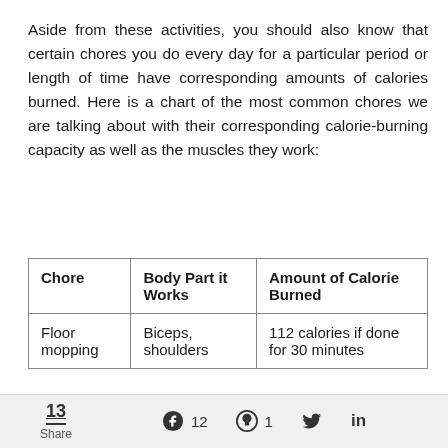Aside from these activities, you should also know that certain chores you do every day for a particular period or length of time have corresponding amounts of calories burned. Here is a chart of the most common chores we are talking about with their corresponding calorie-burning capacity as well as the muscles they work:
| Chore | Body Part it Works | Amount of Calorie Burned |
| --- | --- | --- |
| Floor mopping | Biceps, shoulders | 112 calories if done for 30 minutes |
13 Share  12  1  (Twitter)  in